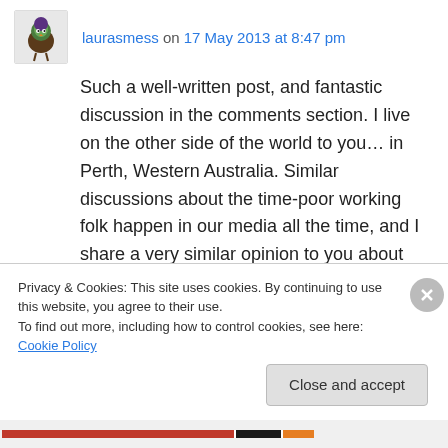laurasmess on 17 May 2013 at 8:47 pm
Such a well-written post, and fantastic discussion in the comments section. I live on the other side of the world to you… in Perth, Western Australia. Similar discussions about the time-poor working folk happen in our media all the time, and I share a very similar opinion to you about our ability to choose. My husband and I are currently surviving on a single income (mine… as he is completing a largely unpaid
Privacy & Cookies: This site uses cookies. By continuing to use this website, you agree to their use.
To find out more, including how to control cookies, see here: Cookie Policy